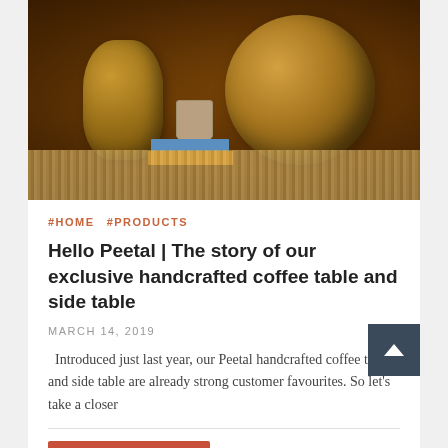[Figure (photo): Moroccan-style brass handcrafted lanterns — a large spherical one and a smaller vase-shaped one — placed on a jute rug with books and a mug, suggesting a coffee table setting.]
#HOME #PRODUCTS
Hello Peetal | The story of our exclusive handcrafted coffee table and side table
MARCH 14, 2019
Introduced just last year, our Peetal handcrafted coffee table and side table are already strong customer favourites. So let's take a closer